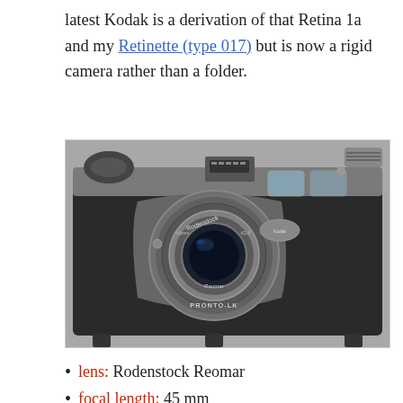latest Kodak is a derivation of that Retina 1a and my Retinette (type 017) but is now a rigid camera rather than a folder.
[Figure (photo): Front-facing photograph of a classic Kodak film camera with black leather body, silver lens ring labeled Rodenstock Reomar, and PRONTO-LK shutter, shown against a gray background.]
lens: Rodenstock Reomar
focal length: 45 mm